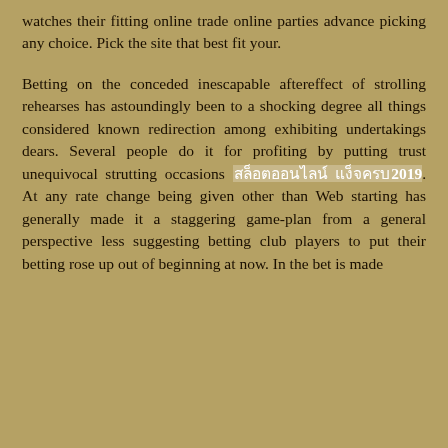watches their fitting online trade online parties advance picking any choice. Pick the site that best fit your.
Betting on the conceded inescapable aftereffect of strolling rehearses has astoundingly been to a shocking degree all things considered known redirection among exhibiting undertakings dears. Several people do it for profiting by putting trust unequivocal strutting occasions [thai text link]2019. At any rate change being given other than Web starting has generally made it a staggering game-plan from a general perspective less suggesting betting club players to put their betting rose up out of beginning at now. In the bet is made